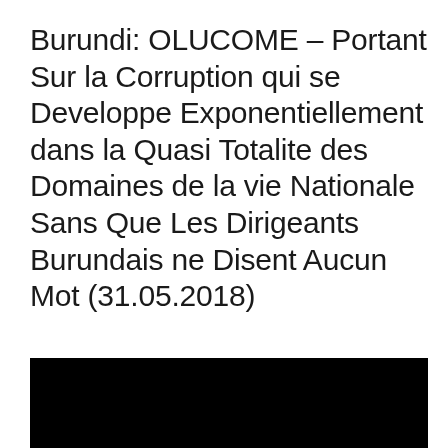Burundi: OLUCOME – Portant Sur la Corruption qui se Developpe Exponentiellement dans la Quasi Totalite des Domaines de la vie Nationale Sans Que Les Dirigeants Burundais ne Disent Aucun Mot (31.05.2018)
[Figure (photo): A black rectangular image block at the bottom of the page, likely a photograph that is fully darkened or redacted.]